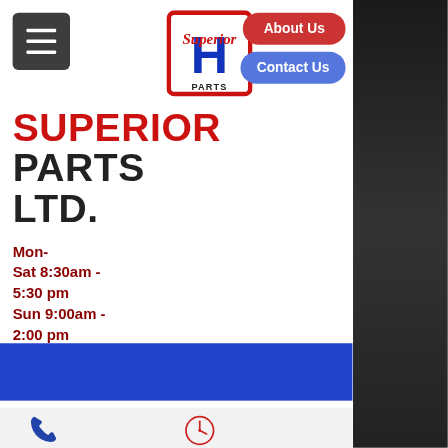[Figure (logo): Superior Parts logo with H emblem in red square border]
About Us
Contact Us
SUPERIOR PARTS LTD.
Mon-Sat 8:30am - 5:30 pm
Sun 9:00am - 2:00 pm
May Pen:876-829-0966
Mandeville:876-352-4297
Ocho Rios: 876-829-0968
Portmore:876-333-